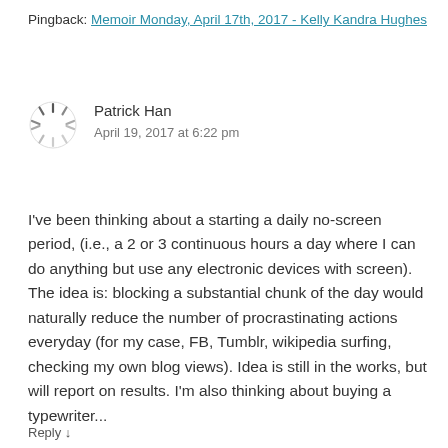Pingback: Memoir Monday, April 17th, 2017 - Kelly Kandra Hughes
Patrick Han
April 19, 2017 at 6:22 pm
I've been thinking about a starting a daily no-screen period, (i.e., a 2 or 3 continuous hours a day where I can do anything but use any electronic devices with screen). The idea is: blocking a substantial chunk of the day would naturally reduce the number of procrastinating actions everyday (for my case, FB, Tumblr, wikipedia surfing, checking my own blog views). Idea is still in the works, but will report on results. I'm also thinking about buying a typewriter...
Reply ↓